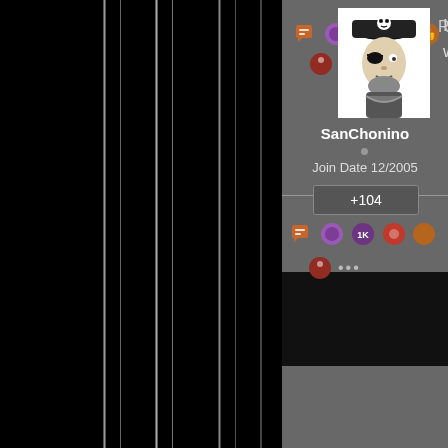[Figure (screenshot): Forum/community website screenshot showing a user profile sidebar card for user 'SanChonino'. The left portion of the screen shows a dark black background with vertical gray stripe artifacts. The upper right shows a partial gray content card with action icons (badges/buttons). A black band separates two cards. The lower card shows a user avatar (black and white pirate illustration), username 'SanChonino', join date '12/2005', reputation score '+104', and rows of action icon badges. Partially visible text on far right reads 'Is it r' and 'want' at top, and 'Reply' in middle-right.]